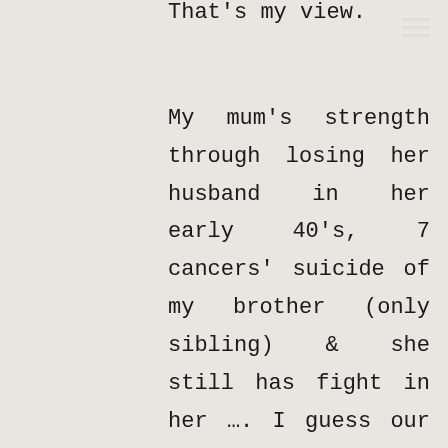That's my view.
My mum's strength through losing her husband in her early 40's, 7 cancers' suicide of my brother (only sibling) & she still has fight in her …. I guess our humour comes out when we say be careful eating a walnut and stepping in the shower …. Cancer can't seem to get you,